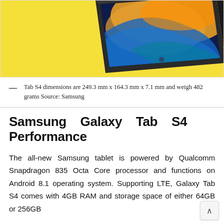[Figure (photo): Samsung Galaxy Tab S4 tablet shown at an angle against a yellow background, displaying colorful abstract wallpaper on its screen]
— Tab S4 dimensions are 249.3 mm x 164.3 mm x 7.1 mm and weigh 482 grams Source: Samsung
Samsung Galaxy Tab S4 Performance
The all-new Samsung tablet is powered by Qualcomm Snapdragon 835 Octa Core processor and functions on Android 8.1 operating system. Supporting LTE, Galaxy Tab S4 comes with 4GB RAM and storage space of either 64GB or 256GB